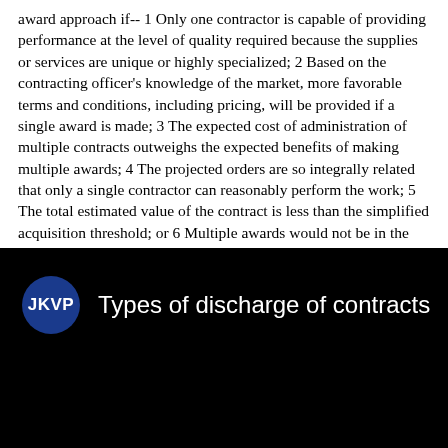award approach if-- 1 Only one contractor is capable of providing performance at the level of quality required because the supplies or services are unique or highly specialized; 2 Based on the contracting officer's knowledge of the market, more favorable terms and conditions, including pricing, will be provided if a single award is made; 3 The expected cost of administration of multiple contracts outweighs the expected benefits of making multiple awards; 4 The projected orders are so integrally related that only a single contractor can reasonably perform the work; 5 The total estimated value of the contract is less than the simplified acquisition threshold; or 6 Multiple awards would not be in the best interests of the Government. Some courts will enforce a moral obligation where there has been a benefit conferred on the promisor.
[Figure (infographic): Black banner with JKVP logo (blue circle with white text) and title 'Types of discharge of contracts' in white text on black background]